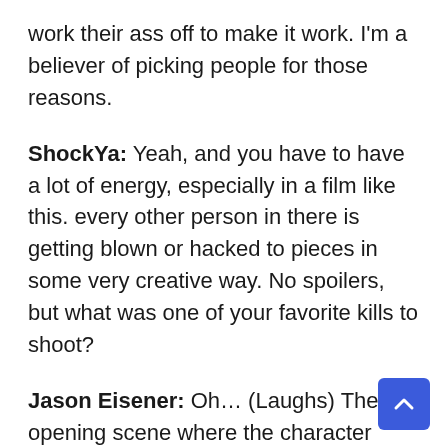work their ass off to make it work. I'm a believer of picking people for those reasons.
ShockYa: Yeah, and you have to have a lot of energy, especially in a film like this. every other person in there is getting blown or hacked to pieces in some very creative way. No spoilers, but what was one of your favorite kills to shoot?
Jason Eisener: Oh… (Laughs) The opening scene where the character named Logan gets his head in a sewer cover and gets a barbed-wire noose around his neck that's tied to a truck. They drive the truck to the other end of the street and it pulls his head off, blood comes flying out and a girl in a white bikini starts dancing in the blood. For me it was a such a